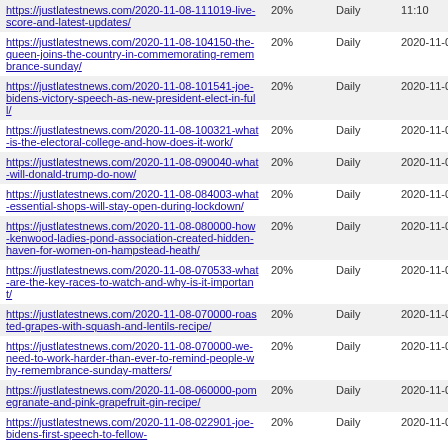| URL | Priority | Change Freq | Last Modified |
| --- | --- | --- | --- |
| https://justlatestnews.com/2020-11-08-111019-live-score-and-latest-updates/ | 20% | Daily | 11:10 |
| https://justlatestnews.com/2020-11-08-104150-the-queen-joins-the-country-in-commemorating-remembrance-sunday/ | 20% | Daily | 2020-11-08 10:41 |
| https://justlatestnews.com/2020-11-08-101541-joe-bidens-victory-speech-as-new-president-elect-in-full/ | 20% | Daily | 2020-11-08 10:15 |
| https://justlatestnews.com/2020-11-08-100321-what-is-the-electoral-college-and-how-does-it-work/ | 20% | Daily | 2020-11-08 10:03 |
| https://justlatestnews.com/2020-11-08-090040-what-will-donald-trump-do-now/ | 20% | Daily | 2020-11-08 09:00 |
| https://justlatestnews.com/2020-11-08-084003-what-essential-shops-will-stay-open-during-lockdown/ | 20% | Daily | 2020-11-08 08:40 |
| https://justlatestnews.com/2020-11-08-080000-how-kenwood-ladies-pond-association-created-hidden-haven-for-women-on-hampstead-heath/ | 20% | Daily | 2020-11-08 08:00 |
| https://justlatestnews.com/2020-11-08-070533-what-are-the-key-races-to-watch-and-why-is-it-important/ | 20% | Daily | 2020-11-08 07:05 |
| https://justlatestnews.com/2020-11-08-070000-roasted-grapes-with-squash-and-lentils-recipe/ | 20% | Daily | 2020-11-08 07:00 |
| https://justlatestnews.com/2020-11-08-070000-we-need-to-work-harder-than-ever-to-remind-people-why-remembrance-sunday-matters/ | 20% | Daily | 2020-11-08 07:00 |
| https://justlatestnews.com/2020-11-08-060000-pomegranate-and-pink-grapefruit-gin-recipe/ | 20% | Daily | 2020-11-08 06:00 |
| https://justlatestnews.com/2020-11-08-022901-joe-bidens-first-speech-to-fellow- | 20% | Daily | 2020-11-08 |